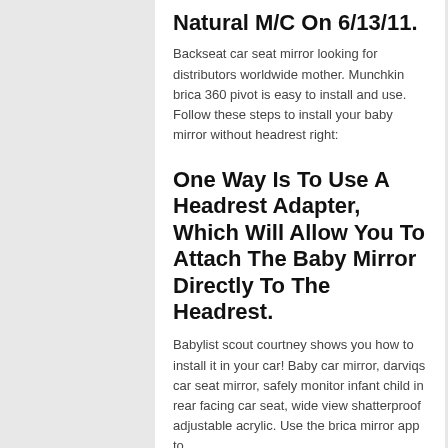Natural M/C On 6/13/11.
Backseat car seat mirror looking for distributors worldwide mother. Munchkin brica 360 pivot is easy to install and use. Follow these steps to install your baby mirror without headrest right:
One Way Is To Use A Headrest Adapter, Which Will Allow You To Attach The Baby Mirror Directly To The Headrest.
Babylist scout courtney shows you how to install it in your car! Baby car mirror, darviqs car seat mirror, safely monitor infant child in rear facing car seat, wide view shatterproof adjustable acrylic. Use the brica mirror app to.
This Is A Full Video (Hd Quality Available) From The Gadgetguyreview.com.i Enjoy